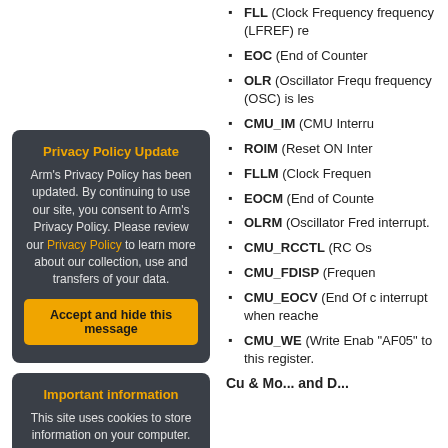[Figure (other): Privacy Policy Update modal box with orange title, body text, orange 'Accept and hide this message' button]
[Figure (other): Important information modal box with orange title, body text with 'cookies' link, orange 'Don't show this message again' button, and 'Change Settings' link]
FLL (Clock Frequency frequency (LFREF) re...
EOC (End of Counter...
OLR (Oscillator Frequ... frequency (OSC) is les...
CMU_IM (CMU Interru...
ROIM (Reset ON Inter...
FLLM (Clock Frequen...
EOCM (End of Counte...
OLRM (Oscillator Fred... interrupt.
CMU_RCCTL (RC Os...
CMU_FDISP (Frequen...
CMU_EOCV (End Of c... interrupt when reache...
CMU_WE (Write Enab... "AF05" to this register.
Cu & Mo... and D...